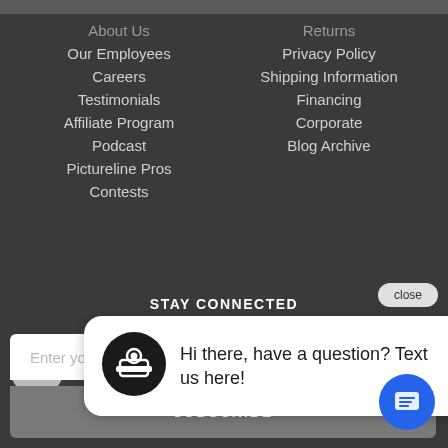About Us
Returns
Our Employees
Privacy Policy
Careers
Shipping Information
Testimonials
Financing
Affiliate Program
Corporate
Podcast
Blog Archive
Pictureline Pros
Contests
STAY CONNECTED
close
Hi there, have a question? Text us here!
Enter your email address
SUBSCRIBE